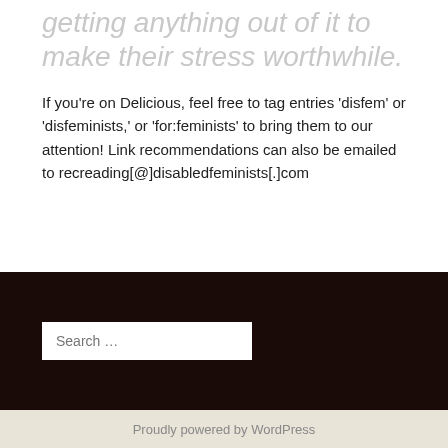getting anything out of it to make their stress worthwhile.
If you’re on Delicious, feel free to tag entries ‘disfem’ or ‘disfeminists,’ or ‘for:feminists’ to bring them to our attention! Link recommendations can also be emailed to recreading[@]disabledfeminists[.]com
Search …
Proudly powered by WordPress